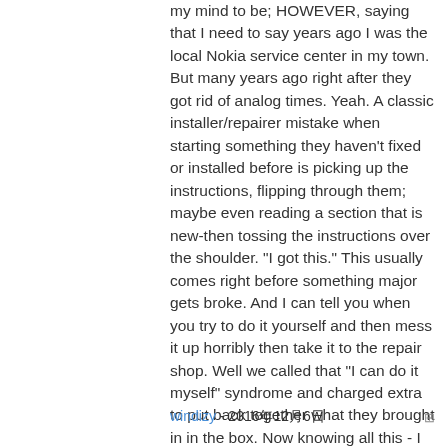my mind to be; HOWEVER, saying that I need to say years ago I was the local Nokia service center in my town. But many years ago right after they got rid of analog times. Yeah. A classic installer/repairer mistake when starting something they haven't fixed or installed before is picking up the instructions, flipping through them; maybe even reading a section that is new-then tossing the instructions over the shoulder. "I got this." This usually comes right before something major gets broke. And I can tell you when you try to do it yourself and then mess it up horribly then take it to the repair shop. Well we called that "I can do it myself" syndrome and charged extra to put back together what they brought in in the box. Now knowing all this - I can't stress this enough because I am stupid, stupid, stupid. COVER YOUR SCREEN IN CLEAR BOXING TAPE AND READ ALL THE INSTRUCTION BELOW THROUGH TO THE END BEFORE EVEN ATTEMPTING THIS FIX. Take my advise.
windizy - 2016年12月6日